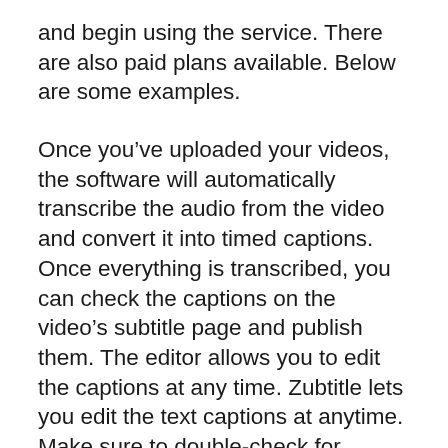and begin using the service. There are also paid plans available. Below are some examples.
Once you’ve uploaded your videos, the software will automatically transcribe the audio from the video and convert it into timed captions. Once everything is transcribed, you can check the captions on the video’s subtitle page and publish them. The editor allows you to edit the captions at any time. Zubtitle lets you edit the text captions at anytime. Make sure to double-check for accuracy.
While Zubtitle’s captioning software can make video content more accessible, it’s best to double-check what it does. Make sure